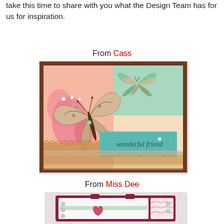take this time to share with you what the Design Team has for us for inspiration.
From Cass
[Figure (photo): Handmade greeting card with butterfly embellishment, patterned paper background with floral and butterfly prints in pink, green and peach tones, teal sentiment tag reading 'wonderful friend', ruffled trim, and rhinestone accents.]
From Miss Dee
[Figure (photo): Handmade greeting card shaped like a vintage television set, in dark pink/maroon and white tones, with a heart embellishment and brad accents.]